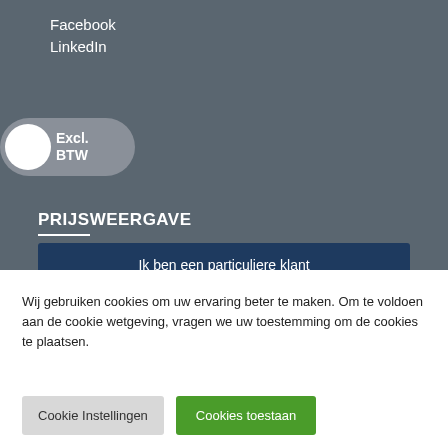Facebook
LinkedIn
[Figure (other): Toggle switch UI element showing 'Excl. BTW' label with a white circle on the left side of a grey rounded pill]
PRIJSWEERGAVE
Ik ben een particuliere klant
Ik ben een zakelijke klant
Wij gebruiken cookies om uw ervaring beter te maken. Om te voldoen aan de cookie wetgeving, vragen we uw toestemming om de cookies te plaatsen.
Cookie Instellingen
Cookies toestaan